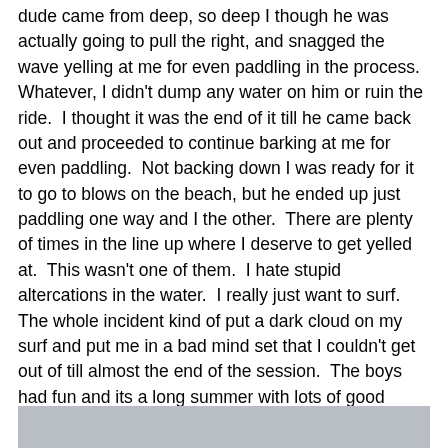dude came from deep, so deep I though he was actually going to pull the right, and snagged the wave yelling at me for even paddling in the process.  Whatever, I didn't dump any water on him or ruin the ride.  I thought it was the end of it till he came back out and proceeded to continue barking at me for even paddling.  Not backing down I was ready for it to go to blows on the beach, but he ended up just paddling one way and I the other.  There are plenty of times in the line up where I deserve to get yelled at.  This wasn't one of them.  I hate stupid altercations in the water.  I really just want to surf.  The whole incident kind of put a dark cloud on my surf and put me in a bad mind set that I couldn't get out of till almost the end of the session.  The boys had fun and its a long summer with lots of good Jalama days to come.
[Figure (photo): Partial view of a grey/silver surface, likely water or sky, at the bottom of the page.]